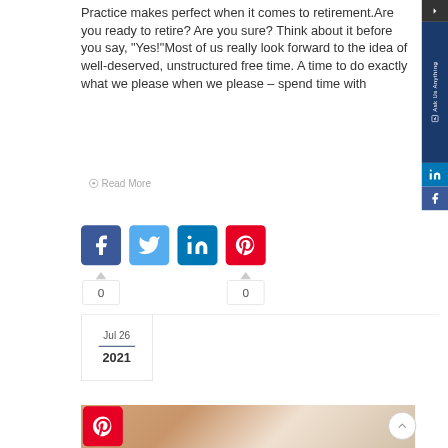Practice makes perfect when it comes to retirement.Are you ready to retire? Are you sure? Think about it before you say, "Yes!"Most of us really look forward to the idea of well-deserved, unstructured free time. A time to do exactly what we please when we please – spend time with
Read More
[Figure (other): Social media share buttons: Facebook, Twitter, LinkedIn, Pinterest with share counts (0 for Facebook and Pinterest)]
Jul 26
2021
[Figure (photo): Partial photo of a woman with blonde hair]